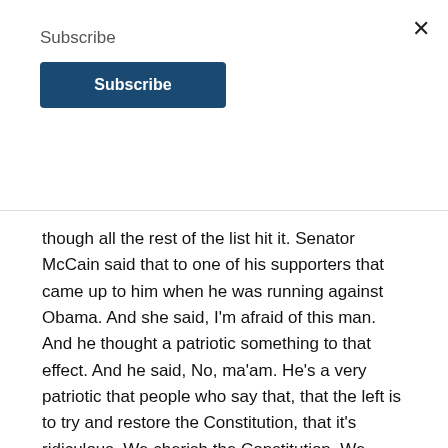Subscribe
Subscribe
×
though all the rest of the list hit it. Senator McCain said that to one of his supporters that came up to him when he was running against Obama. And she said, I'm afraid of this man. And he thought a patriotic something to that effect. And he said, No, ma'am. He's a very patriotic that people who say that, that the left is to try and restore the Constitution, that it's ridiculous. We cherish the Constitution. We cherish the constitution as much as you did. We just happen to believe that the Constitution does different things and different ways than what you believe.
Andy 1:43:00